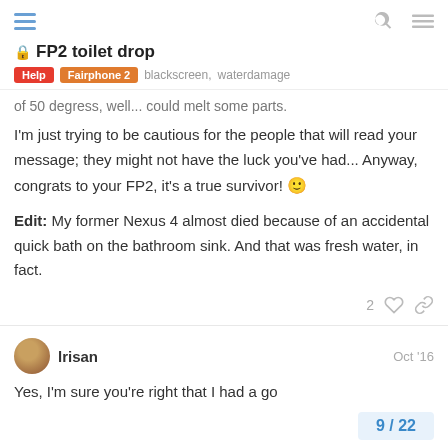FP2 toilet drop | Help, Fairphone 2, blackscreen, waterdamage
of 50 degress, well... could melt some parts.
I'm just trying to be cautious for the people that will read your message; they might not have the luck you've had... Anyway, congrats to your FP2, it's a true survivor! 🙂
Edit: My former Nexus 4 almost died because of an accidental quick bath on the bathroom sink. And that was fresh water, in fact.
2 ♡ 🔗
lrisan Oct '16
Yes, I'm sure you're right that I had a go